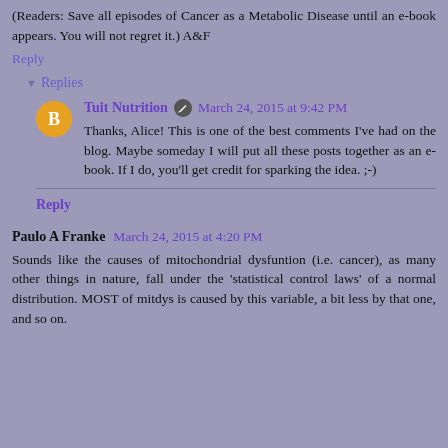(Readers: Save all episodes of Cancer as a Metabolic Disease until an e-book appears. You will not regret it.) A&F
Reply
Replies
Tuit Nutrition  March 24, 2015 at 9:42 PM
Thanks, Alice! This is one of the best comments I've had on the blog. Maybe someday I will put all these posts together as an e-book. If I do, you'll get credit for sparking the idea. ;-)
Reply
Paulo A Franke  March 24, 2015 at 4:20 PM
Sounds like the causes of mitochondrial dysfuntion (i.e. cancer), as many other things in nature, fall under the 'statistical control laws' of a normal distribution. MOST of mitdys is caused by this variable, a bit less by that one, and so on.